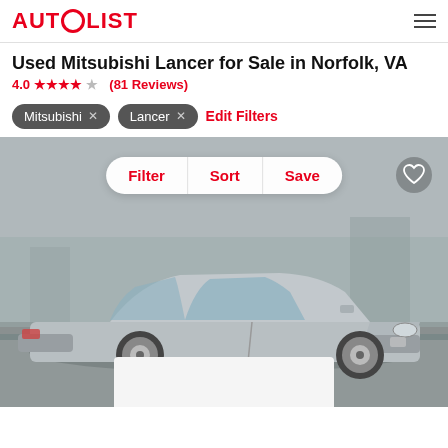AUTOLIST
Used Mitsubishi Lancer for Sale in Norfolk, VA
4.0 ★★★★ (81 Reviews)
Mitsubishi ×
Lancer ×
Edit Filters
[Figure (photo): Silver Mitsubishi Lancer sedan parked in a lot, front three-quarter view. Overlay controls show Filter, Sort, Save buttons and a heart icon.]